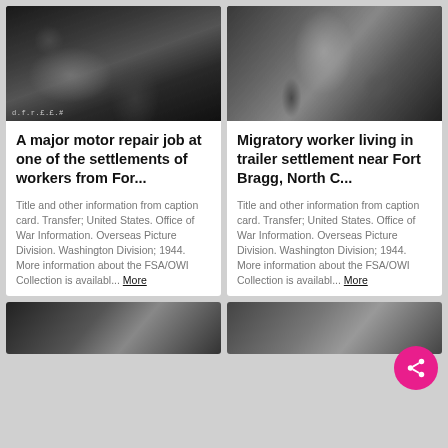[Figure (photo): Black and white photograph of a man doing a major motor repair job on a car at a workers settlement, FSA/OWI collection]
[Figure (photo): Black and white photograph of a migratory worker (man with mustache in work clothes) living in trailer settlement near Fort Bragg, North Carolina, FSA/OWI collection]
A major motor repair job at one of the settlements of workers from For...
Migratory worker living in trailer settlement near Fort Bragg, North C...
Title and other information from caption card. Transfer; United States. Office of War Information. Overseas Picture Division. Washington Division; 1944. More information about the FSA/OWI Collection is availabl... More
Title and other information from caption card. Transfer; United States. Office of War Information. Overseas Picture Division. Washington Division; 1944. More information about the FSA/OWI Collection is availabl... More
[Figure (photo): Partial black and white photograph visible at bottom left]
[Figure (photo): Partial black and white photograph visible at bottom right]